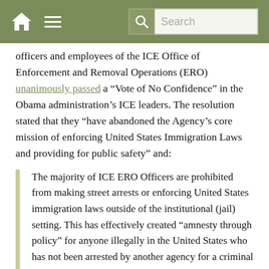Search
officers and employees of the ICE Office of Enforcement and Removal Operations (ERO) unanimously passed a “Vote of No Confidence” in the Obama administration’s ICE leaders. The resolution stated that they “have abandoned the Agency’s core mission of enforcing United States Immigration Laws and providing for public safety” and:
The majority of ICE ERO Officers are prohibited from making street arrests or enforcing United States immigration laws outside of the institutional (jail) setting. This has effectively created “amnesty through policy” for anyone illegally in the United States who has not been arrested by another agency for a criminal violation.
Similarly, in 2013, Chris Crane, the president of this union, wrote a letter to Congress stating that “ICE officers are